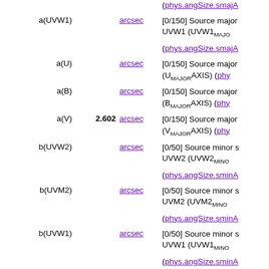| Name | Value | Unit | Description |
| --- | --- | --- | --- |
| a(UVW1) |  | arcsec | [0/150] Source major axis UVW1 (UVW1_MAJOR) (phys.angSize.smajAxis) |
| a(U) |  | arcsec | [0/150] Source major axis (U_MAJORAXIS) (phys... |
| a(B) |  | arcsec | [0/150] Source major axis (B_MAJORAXIS) (phys... |
| a(V) | 2.602 | arcsec | [0/150] Source major axis (V_MAJORAXIS) (phys... |
| b(UVW2) |  | arcsec | [0/50] Source minor axis UVW2 (UVW2_MINOR) (phys.angSize.sminAxis) |
| b(UVM2) |  | arcsec | [0/50] Source minor axis UVM2 (UVM2_MINOR) (phys.angSize.sminAxis) |
| b(UVW1) |  | arcsec | [0/50] Source minor axis UVW1 (UVW1_MINOR) (phys.angSize.sminAxis) |
| b(U) |  | arcsec | [0/50] Source minor axis (U_MINORAXIS) (phys... |
| b(B) |  | arcsec | [0/50] Source minor |